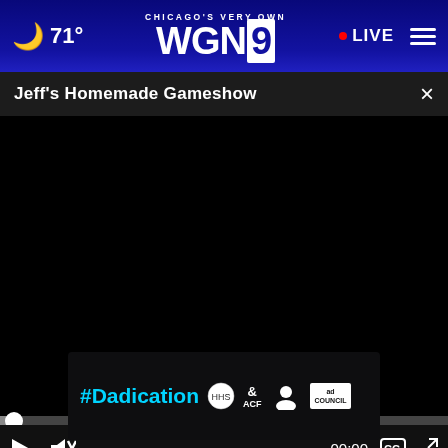71° CHICAGO'S VERY OWN WGN9 • LIVE
Jeff's Homemade Gameshow
[Figure (screenshot): Black video player area showing a paused/loading video with progress bar and controls: play button, mute button, 00:00 timestamp, captions button, fullscreen button]
[Figure (photo): Partially visible webpage background showing a building/campus exterior scene with trees]
[Figure (infographic): Ad banner with text '#Dadication' in cyan, along with HHS, ACF, National Responsible Fatherhood Clearinghouse, and Ad Council logos on dark background]